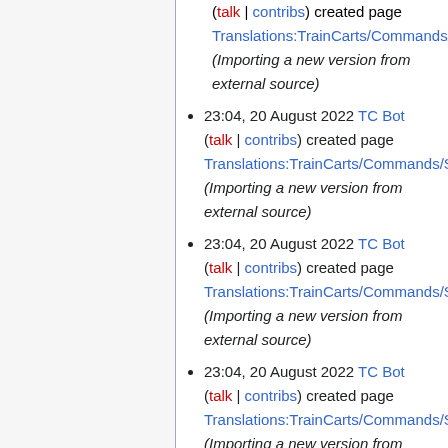(talk | contribs) created page Translations:TrainCarts/Commands/Sele (Importing a new version from external source)
23:04, 20 August 2022 TC Bot (talk | contribs) created page Translations:TrainCarts/Commands/Sele (Importing a new version from external source)
23:04, 20 August 2022 TC Bot (talk | contribs) created page Translations:TrainCarts/Commands/Sele (Importing a new version from external source)
23:04, 20 August 2022 TC Bot (talk | contribs) created page Translations:TrainCarts/Commands/Sele (Importing a new version from external source)
23:04, 20 August 2022 TC Bot